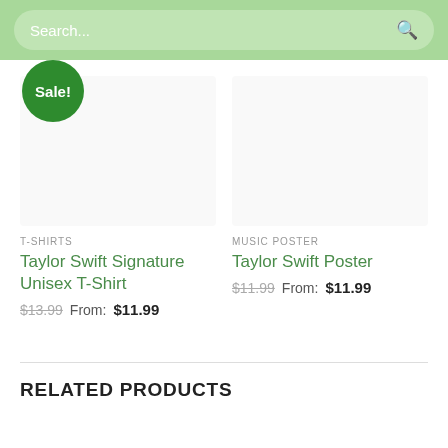Search...
Sale!
T-SHIRTS
Taylor Swift Signature Unisex T-Shirt
$13.99  From: $11.99
MUSIC POSTER
Taylor Swift Poster
$11.99  From: $11.99
RELATED PRODUCTS